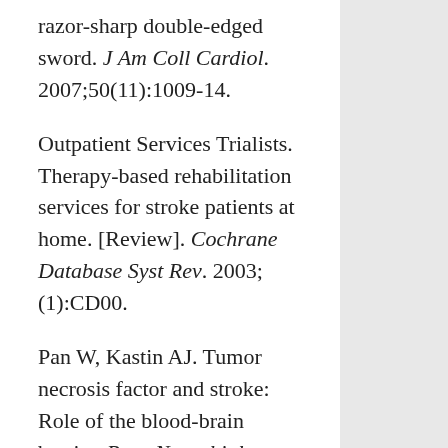razor-sharp double-edged sword. J Am Coll Cardiol. 2007;50(11):1009-14.
Outpatient Services Trialists. Therapy-based rehabilitation services for stroke patients at home. [Review]. Cochrane Database Syst Rev. 2003;(1):CD00.
Pan W, Kastin AJ. Tumor necrosis factor and stroke: Role of the blood-brain barrier. Prog Neurobiol. 2007; [Epub ahead of print].
Richards LG, Stewart KC, Woodbury ML, Senesac C, Cauraugh JH. Movement-dependent stroke recovery: